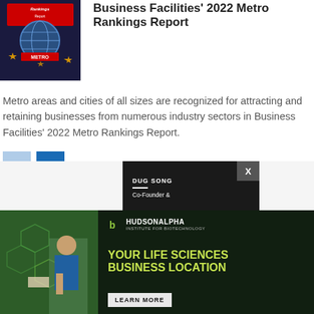[Figure (logo): Business Facilities Metro Rankings Report award logo with stars and globe]
Business Facilities' 2022 Metro Rankings Report
Metro areas and cities of all sizes are recognized for attracting and retaining businesses from numerous industry sectors in Business Facilities' 2022 Metro Rankings Report.
[Figure (other): Navigation previous and next buttons (< and >)]
[Figure (other): Popup card: DUG SONG — Co-Founder &]
[Figure (photo): HudsonAlpha Institute for Biotechnology advertisement: YOUR LIFE SCIENCES BUSINESS LOCATION — LEARN MORE, with hexagon graphics and scientist photo]